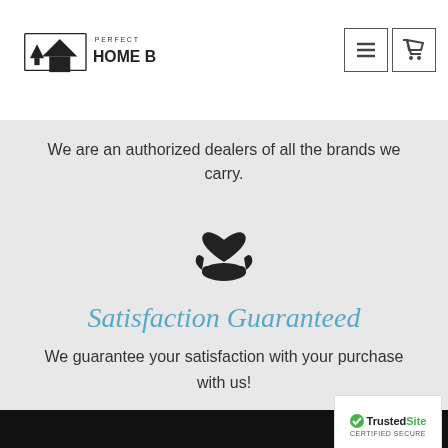Perfect Home Bars
We are an authorized dealers of all the brands we carry.
[Figure (illustration): Icon of a hand holding a heart, representing care and satisfaction guarantee]
Satisfaction Guaranteed
We guarantee your satisfaction with your purchase with us!
[Figure (logo): TrustedSite Certified Secure badge]